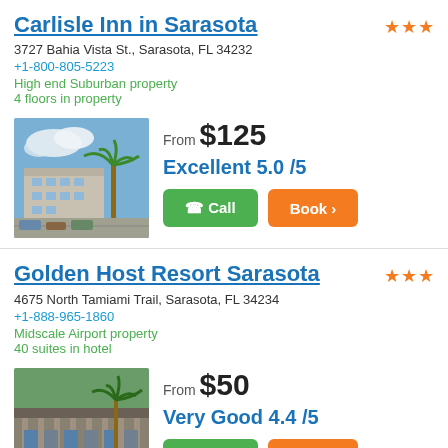Carlisle Inn in Sarasota
3727 Bahia Vista St., Sarasota, FL 34232
+1-800-805-5223
High end Suburban property
4 floors in property
[Figure (photo): Exterior photo of Carlisle Inn in Sarasota showing building with palm trees and parking lot]
From $125
Excellent 5.0 /5
Golden Host Resort Sarasota
4675 North Tamiami Trail, Sarasota, FL 34234
+1-888-965-1860
Midscale Airport property
40 suites in hotel
[Figure (photo): Exterior photo of Golden Host Resort Sarasota showing building facade with palm trees]
From $50
Very Good 4.4 /5